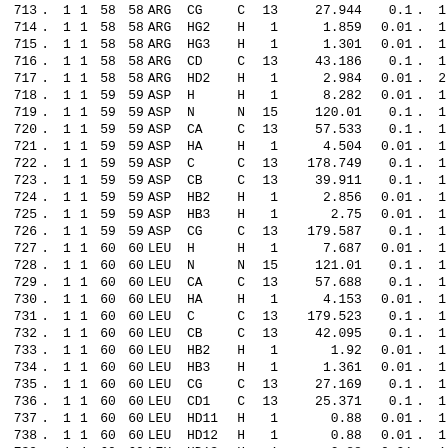| 713 | . | 1 | 1 | 58 | 58 | ARG | CG | C | 13 | 27.944 | 0.1 | . | 1 |
| 714 | . | 1 | 1 | 58 | 58 | ARG | HG2 | H | 1 | 1.859 | 0.01 | . | 1 |
| 715 | . | 1 | 1 | 58 | 58 | ARG | HG3 | H | 1 | 1.301 | 0.01 | . | 1 |
| 716 | . | 1 | 1 | 58 | 58 | ARG | CD | C | 13 | 43.186 | 0.1 | . | 1 |
| 717 | . | 1 | 1 | 58 | 58 | ARG | HD2 | H | 1 | 2.984 | 0.01 | . | 2 |
| 718 | . | 1 | 1 | 59 | 59 | ASP | H | H | 1 | 8.282 | 0.01 | . | 1 |
| 719 | . | 1 | 1 | 59 | 59 | ASP | N | N | 15 | 120.01 | 0.1 | . | 1 |
| 720 | . | 1 | 1 | 59 | 59 | ASP | CA | C | 13 | 57.533 | 0.1 | . | 1 |
| 721 | . | 1 | 1 | 59 | 59 | ASP | HA | H | 1 | 4.504 | 0.01 | . | 1 |
| 722 | . | 1 | 1 | 59 | 59 | ASP | C | C | 13 | 178.749 | 0.1 | . | 1 |
| 723 | . | 1 | 1 | 59 | 59 | ASP | CB | C | 13 | 39.911 | 0.1 | . | 1 |
| 724 | . | 1 | 1 | 59 | 59 | ASP | HB2 | H | 1 | 2.856 | 0.01 | . | 1 |
| 725 | . | 1 | 1 | 59 | 59 | ASP | HB3 | H | 1 | 2.75 | 0.01 | . | 1 |
| 726 | . | 1 | 1 | 59 | 59 | ASP | CG | C | 13 | 179.587 | 0.1 | . | 1 |
| 727 | . | 1 | 1 | 60 | 60 | LEU | H | H | 1 | 7.687 | 0.01 | . | 1 |
| 728 | . | 1 | 1 | 60 | 60 | LEU | N | N | 15 | 121.01 | 0.1 | . | 1 |
| 729 | . | 1 | 1 | 60 | 60 | LEU | CA | C | 13 | 57.688 | 0.1 | . | 1 |
| 730 | . | 1 | 1 | 60 | 60 | LEU | HA | H | 1 | 4.153 | 0.01 | . | 1 |
| 731 | . | 1 | 1 | 60 | 60 | LEU | C | C | 13 | 179.523 | 0.1 | . | 1 |
| 732 | . | 1 | 1 | 60 | 60 | LEU | CB | C | 13 | 42.095 | 0.1 | . | 1 |
| 733 | . | 1 | 1 | 60 | 60 | LEU | HB2 | H | 1 | 1.92 | 0.01 | . | 1 |
| 734 | . | 1 | 1 | 60 | 60 | LEU | HB3 | H | 1 | 1.361 | 0.01 | . | 1 |
| 735 | . | 1 | 1 | 60 | 60 | LEU | CG | C | 13 | 27.169 | 0.1 | . | 1 |
| 736 | . | 1 | 1 | 60 | 60 | LEU | CD1 | C | 13 | 25.371 | 0.1 | . | 1 |
| 737 | . | 1 | 1 | 60 | 60 | LEU | HD11 | H | 1 | 0.88 | 0.01 | . | 1 |
| 738 | . | 1 | 1 | 60 | 60 | LEU | HD12 | H | 1 | 0.88 | 0.01 | . | 1 |
| 739 | . | 1 | 1 | 60 | 60 | LEU | HD13 | H | 1 | 0.88 | 0.01 | . | 1 |
| 740 | . | 1 | 1 | 60 | 60 | LEU | CD2 | C | 13 | 22.636 | 0.1 | . | 1 |
| 741 | . | 1 | 1 | 60 | 60 | LEU | HD21 | H | 1 | 0.88 | 0.01 | . | 1 |
| 742 | . | 1 | 1 | 60 | 60 | LEU | HD22 | H | 1 | 0.88 | 0.01 | . | 1 |